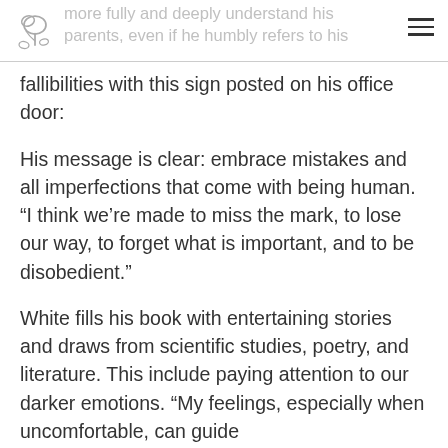more fully and deeply understand his parents, even if he humbly refers to his
fallibilities with this sign posted on his office door:
His message is clear: embrace mistakes and all imperfections that come with being human. “I think we’re made to miss the mark, to lose our way, to forget what is important, and to be disobedient.”
White fills his book with entertaining stories and draws from scientific studies, poetry, and literature. This include paying attention to our darker emotions. “My feelings, especially when uncomfortable, can guide